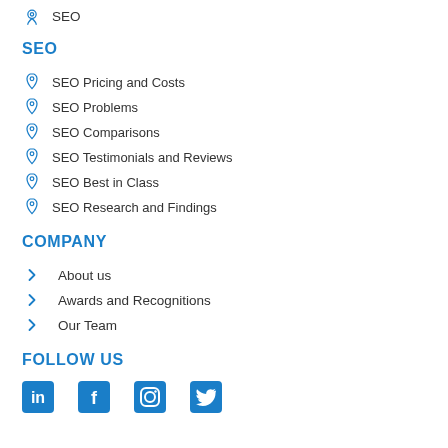SEO
SEO
SEO Pricing and Costs
SEO Problems
SEO Comparisons
SEO Testimonials and Reviews
SEO Best in Class
SEO Research and Findings
COMPANY
About us
Awards and Recognitions
Our Team
FOLLOW US
[Figure (other): Social media icons: LinkedIn, Facebook, Instagram, Twitter]